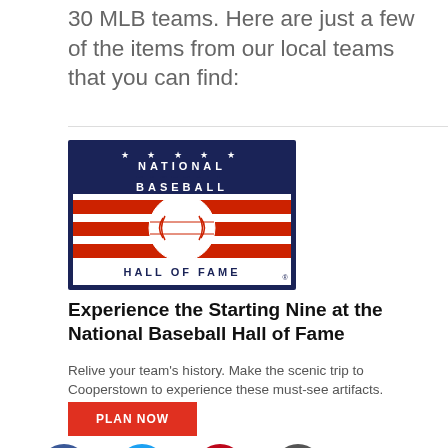30 MLB teams. Here are just a few of the items from our local teams that you can find:
[Figure (logo): National Baseball Hall of Fame logo: navy blue border, text 'NATIONAL BASEBALL HALL OF FAME' with stars, red and white horizontal stripes, white baseball in center with red stitching]
Experience the Starting Nine at the National Baseball Hall of Fame
Relive your team's history. Make the scenic trip to Cooperstown to experience these must-see artifacts.
PLAN NOW
[Figure (infographic): Social media icons row: Facebook (blue circle with f), Twitter (cyan circle with bird), Pinterest (red circle with P), Email (dark gray circle with envelope)]